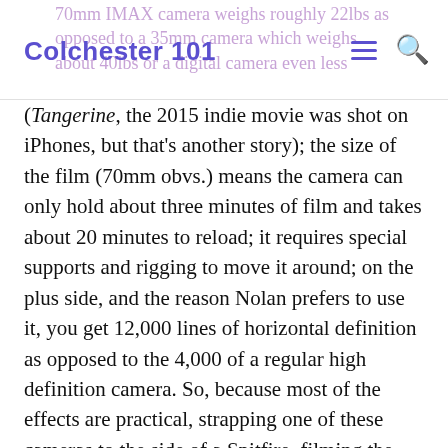Colchester 101
(Tangerine, the 2015 indie movie was shot on iPhones, but that's another story); the size of the film (70mm obvs.) means the camera can only hold about three minutes of film and takes about 20 minutes to reload; it requires special supports and rigging to move it around; on the plus side, and the reason Nolan prefers to use it, you get 12,000 lines of horizontal definition as opposed to the 4,000 of a regular high definition camera. So, because most of the effects are practical, strapping one of these cameras to the side of a Spitfire, filming the inside of a sinking ship and, let's not forget, filming on a beach mean that this movie really shouldn't exist and yet it does and we should all be thankful to the